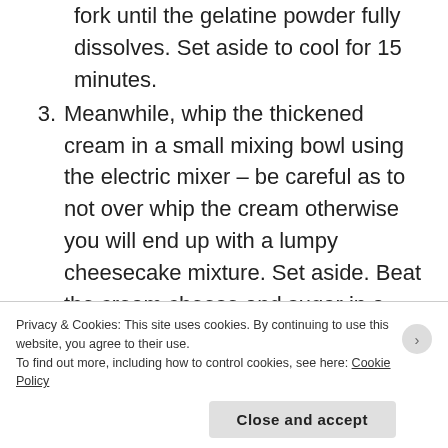fork until the gelatine powder fully dissolves. Set aside to cool for 15 minutes.
3. Meanwhile, whip the thickened cream in a small mixing bowl using the electric mixer – be careful as to not over whip the cream otherwise you will end up with a lumpy cheesecake mixture. Set aside. Beat the cream cheese and sugar in a large mixing bowl using the electric mixer until smooth and creamy.
4. Fold the melted white chocolate and whipped cream into the cheesecake mixture, then,
Privacy & Cookies: This site uses cookies. By continuing to use this website, you agree to their use.
To find out more, including how to control cookies, see here: Cookie Policy
Close and accept